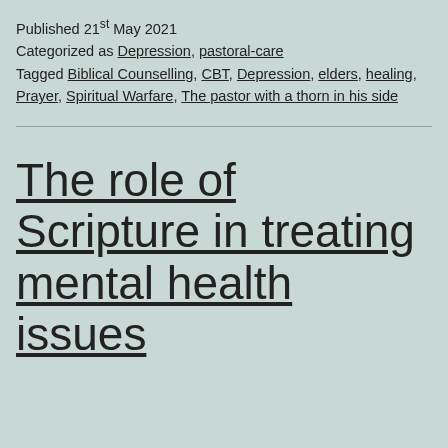Published 21st May 2021
Categorized as Depression, pastoral-care
Tagged Biblical Counselling, CBT, Depression, elders, healing, Prayer, Spiritual Warfare, The pastor with a thorn in his side
The role of Scripture in treating mental health issues